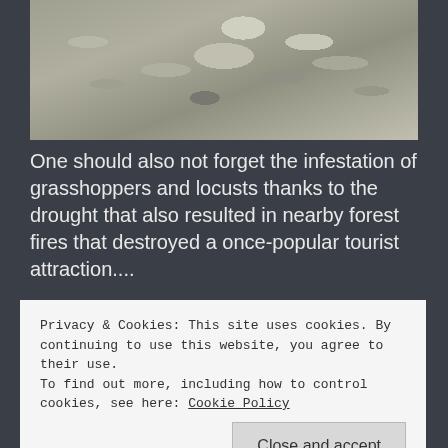[Figure (photo): Close-up photograph of rocks and pebbles, grey and tan colored stones of various sizes]
One should also not forget the infestation of grasshoppers and locusts thanks to the drought that also resulted in nearby forest fires that destroyed a once-popular tourist attraction....
[Figure (photo): Photograph of sandy/dusty ground with some green vegetation at the top edge]
Privacy & Cookies: This site uses cookies. By continuing to use this website, you agree to their use.
To find out more, including how to control cookies, see here: Cookie Policy
Close and accept